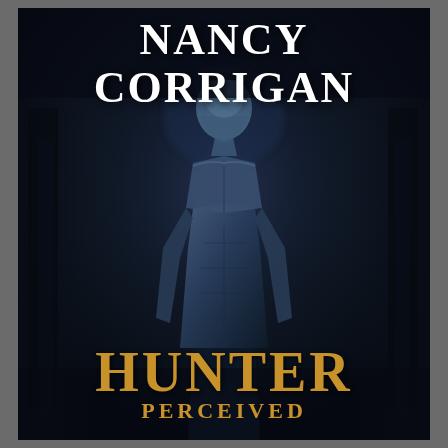[Figure (illustration): Book cover for 'Hunter Perceived' by Nancy Corrigan. Dark, moody cover featuring a muscular shirtless man with chiseled physique gazing upward, set against a dark blue-black atmospheric background with shadowy tree-like forms. Author name 'NANCY CORRIGAN' appears in large white serif bold text at the top. Book title 'HUNTER' appears in large gold/amber serif bold text near the bottom, with 'PERCEIVED' in smaller gold text below it.]
NANCY CORRIGAN
HUNTER
PERCEIVED